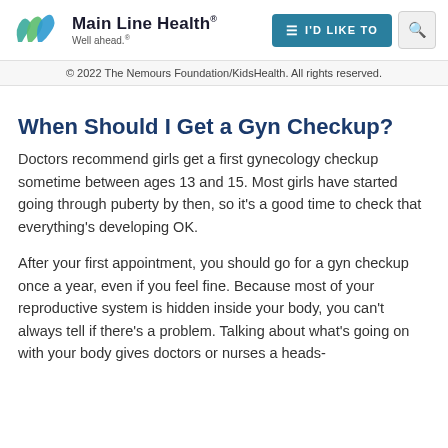Main Line Health® Well ahead.
© 2022 The Nemours Foundation/KidsHealth. All rights reserved.
When Should I Get a Gyn Checkup?
Doctors recommend girls get a first gynecology checkup sometime between ages 13 and 15. Most girls have started going through puberty by then, so it's a good time to check that everything's developing OK.
After your first appointment, you should go for a gyn checkup once a year, even if you feel fine. Because most of your reproductive system is hidden inside your body, you can't always tell if there's a problem. Talking about what's going on with your body gives doctors or nurses a heads-